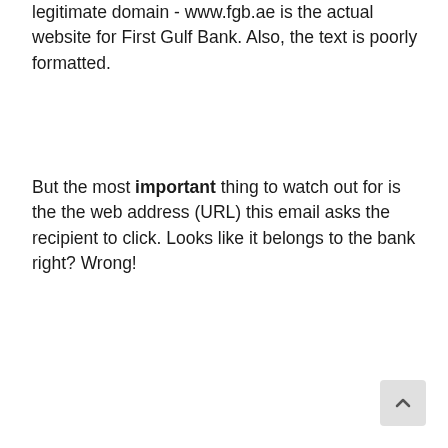legitimate domain - www.fgb.ae is the actual website for First Gulf Bank. Also, the text is poorly formatted.
But the most important thing to watch out for is the the web address (URL) this email asks the recipient to click. Looks like it belongs to the bank right? Wrong!